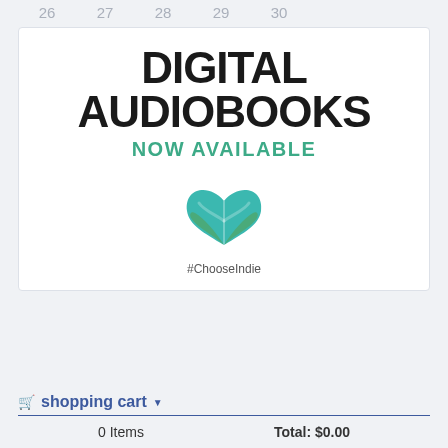26  27  28  29  30
[Figure (illustration): Digital Audiobooks Now Available advertisement with ChooseIndie heart-book logo]
shopping cart
0 Items    Total: $0.00